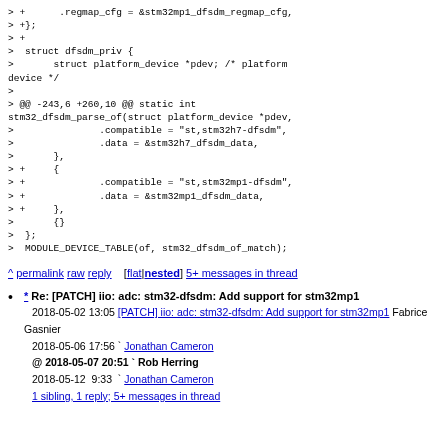> +    .regmap_cfg = &stm32mp1_dfsdm_regmap_cfg,
> +};
> +
>  struct dfsdm_priv {
>       struct platform_device *pdev; /* platform device */
>
> @@ -243,6 +260,10 @@ static int stm32_dfsdm_parse_of(struct platform_device *pdev,
>               .compatible = "st,stm32h7-dfsdm",
>               .data = &stm32h7_dfsdm_data,
>       },
> +     {
> +             .compatible = "st,stm32mp1-dfsdm",
> +             .data = &stm32mp1_dfsdm_data,
> +     },
>       {}
>  };
>  MODULE_DEVICE_TABLE(of, stm32_dfsdm_of_match);
^ permalink raw reply  [flat|nested] 5+ messages in thread
* Re: [PATCH] iio: adc: stm32-dfsdm: Add support for stm32mp1
2018-05-02 13:05 [PATCH] iio: adc: stm32-dfsdm: Add support for stm32mp1 Fabrice Gasnier
2018-05-06 17:56 ` Jonathan Cameron
@ 2018-05-07 20:51 ` Rob Herring
2018-05-12  9:33  ` Jonathan Cameron
1 sibling, 1 reply; 5+ messages in thread